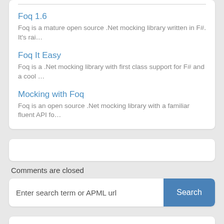Foq 1.6
Foq is a mature open source .Net mocking library written in F#. It's rai…
Foq It Easy
Foq is a .Net mocking library with first class support for F# and a cool …
Mocking with Foq
Foq is an open source .Net mocking library with a familiar fluent API fo…
Comments are closed
Enter search term or APML url
Calendar